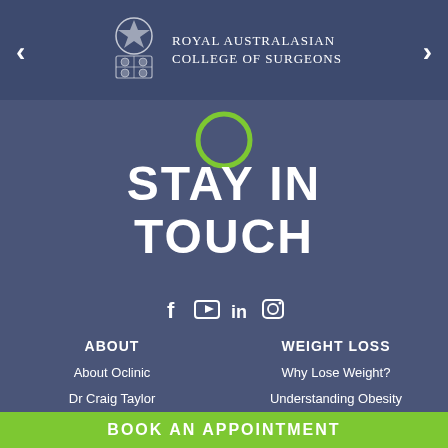[Figure (logo): Royal Australasian College of Surgeons crest logo with text 'Royal Australasian College of Surgeons']
[Figure (illustration): Green circle outline icon]
STAY IN TOUCH
[Figure (infographic): Social media icons: Facebook, YouTube, LinkedIn, Instagram]
ABOUT
About Oclinic
Dr Craig Taylor
Total Care Program
WEIGHT LOSS
Why Lose Weight?
Understanding Obesity
Am I a Candidate?
TREATMENTS
Gastric Sleeve
CONTACT US
Contact Us
BOOK AN APPOINTMENT